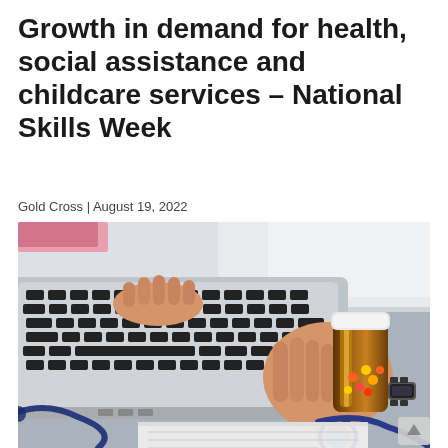Growth in demand for health, social assistance and childcare services – National Skills Week
Gold Cross | August 19, 2022
[Figure (photo): A person in a white coat typing on a laptop keyboard while holding a brown pill bottle with colorful capsules. A stethoscope and medical clipboard are visible on the desk in the foreground.]